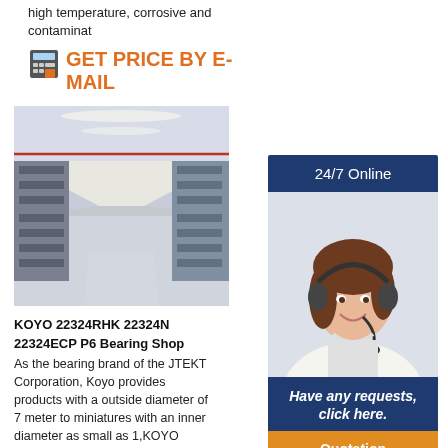high temperature, corrosive and contaminat
GET PRICE BY E-MAIL
[Figure (photo): Warehouse interior with shelving racks filled with boxes, seen from a corridor perspective with bright overhead lighting.]
KOYO 22324RHK 22324N 22324ECP P6 Bearing Shop
As the bearing brand of the JTEKT Corporation, Koyo provides products with a outside diameter of 7 meter to miniatures with an inner diameter as small as 1,KOYO
[Figure (illustration): Customer service representative with headset smiling, with 24/7 Online banner, 'Have any requests, click here.' text, and Quotation button.]